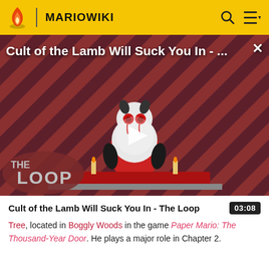MARIOWIKI
[Figure (screenshot): Video thumbnail for 'Cult of the Lamb Will Suck You In - The Loop' showing a cartoon lamb character on a red and dark stripe background, with The Loop logo at bottom left and a play button overlay]
Cult of the Lamb Will Suck You In - The Loop   03:08
Tree, located in Boggly Woods in the game Paper Mario: The Thousand-Year Door. He plays a major role in Chapter 2.